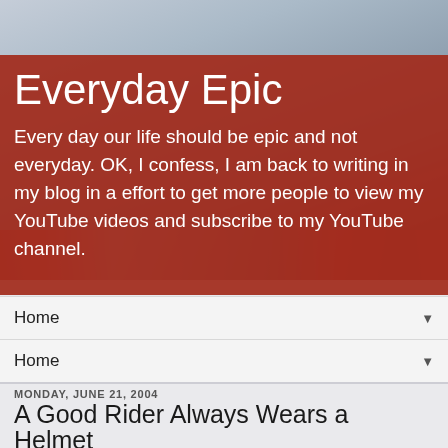[Figure (photo): Header background photo showing a cyclist or outdoor scene in muted blue-grey tones]
Everyday Epic
Every day our life should be epic and not everyday. OK, I confess, I am back to writing in my blog in a effort to get more people to view my YouTube videos and subscribe to my YouTube channel.
Home
Home
MONDAY, JUNE 21, 2004
A Good Rider Always Wears a Helmet
Avg 8.2 Dst 19.17 Tm 2:18:38 Max 27.7 Dst/D 9.48
[Figure (photo): Bicycle parts photo at the bottom showing handlebars/saddle in red and grey tones]